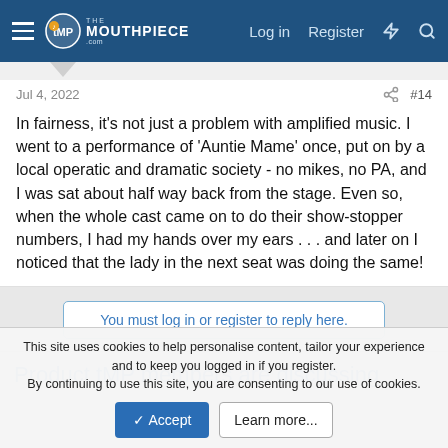The Mouthpiece - Log in | Register
Jul 4, 2022   #14
In fairness, it's not just a problem with amplified music. I went to a performance of 'Auntie Mame' once, put on by a local operatic and dramatic society - no mikes, no PA, and I was sat about half way back from the stage. Even so, when the whole cast came on to do their show-stopper numbers, I had my hands over my ears . . . and later on I noticed that the lady in the next seat was doing the same!
You must log in or register to reply here.
Product tMP members are discussing
This site uses cookies to help personalise content, tailor your experience and to keep you logged in if you register.
By continuing to use this site, you are consenting to our use of cookies.